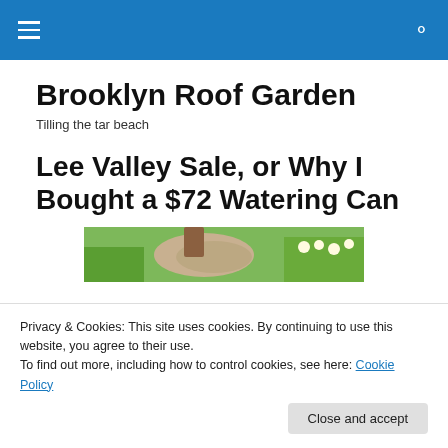Brooklyn Roof Garden [nav bar]
Brooklyn Roof Garden
Tilling the tar beach
Lee Valley Sale, or Why I Bought a $72 Watering Can
[Figure (photo): Photo of a garden scene with green plants, flowers, and a stone path]
Privacy & Cookies: This site uses cookies. By continuing to use this website, you agree to their use.
To find out more, including how to control cookies, see here: Cookie Policy
Close and accept